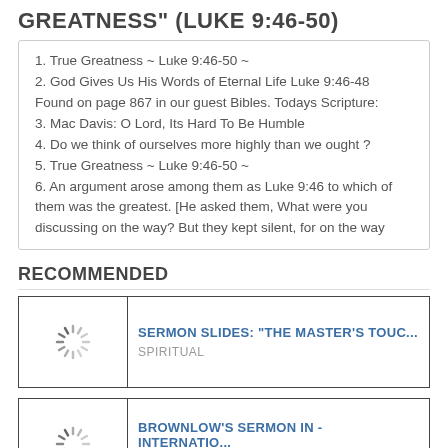GREATNESS" (LUKE 9:46-50)
1. True Greatness ~ Luke 9:46-50 ~
2. God Gives Us His Words of Eternal Life Luke 9:46-48 Found on page 867 in our guest Bibles. Todays Scripture:
3. Mac Davis: O Lord, Its Hard To Be Humble
4. Do we think of ourselves more highly than we ought ?
5. True Greatness ~ Luke 9:46-50 ~
6. An argument arose among them as Luke 9:46 to which of them was the greatest. [He asked them, What were you discussing on the way? But they kept silent, for on the way
RECOMMENDED
[Figure (screenshot): Thumbnail placeholder with loading spinner for SERMON SLIDES: THE MASTER'S TOUC...]
SERMON SLIDES: "THE MASTER'S TOUC...
SPIRITUAL
[Figure (screenshot): Thumbnail placeholder with loading spinner for BROWNLOW'S SERMON IN - INTERNATIO...]
BROWNLOW'S SERMON IN - INTERNATIO...
DOCUMENTS